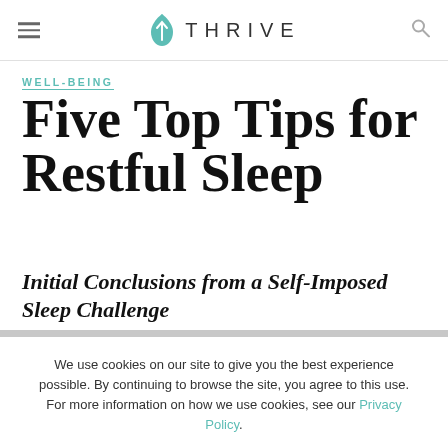THRIVE
WELL-BEING
Five Top Tips for Restful Sleep
Initial Conclusions from a Self-Imposed Sleep Challenge
We use cookies on our site to give you the best experience possible. By continuing to browse the site, you agree to this use. For more information on how we use cookies, see our Privacy Policy.
CONTINUE